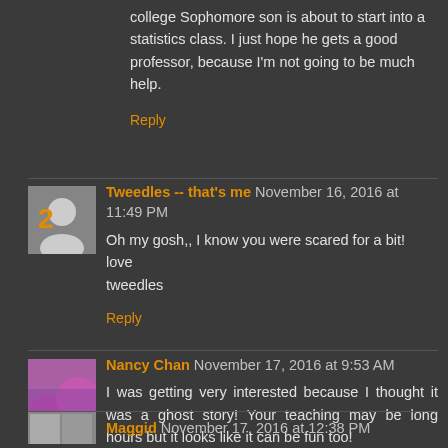college Sophomore son is about to start into a statistics class. I just hope he gets a good professor, because I'm not going to be much help.
Reply
Tweedles -- that's me  November 16, 2016 at 11:49 PM
Oh my gosh,, I know you were scared for a bit!
love
tweedles
Reply
Nancy Chan  November 17, 2016 at 9:53 AM
I was getting very interested because I thought it was a ghost story! Your teaching may be long hours but it looks like it can be fun too!
Reply
Maggid  November 17, 2016 at 12:38 PM